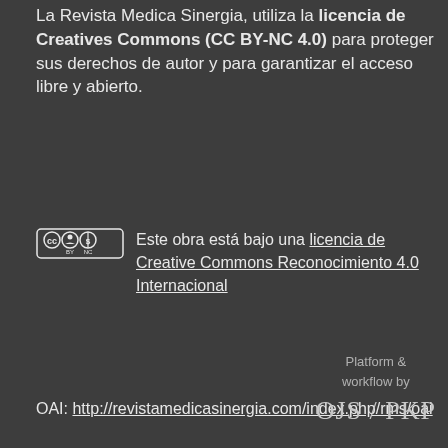La Revista Medica Sinergia, utiliza la licencia de Creatives Commons (CC BY-NC 4.0) para proteger sus derechos de autor y para garantizar el acceso libre y abierto.
Este obra está bajo una licencia de Creative Commons Reconocimiento 4.0 Internacional
OAI: http://revistamedicasinergia.com/index.php/rms/oai
Platform & workflow by OJS / PKP